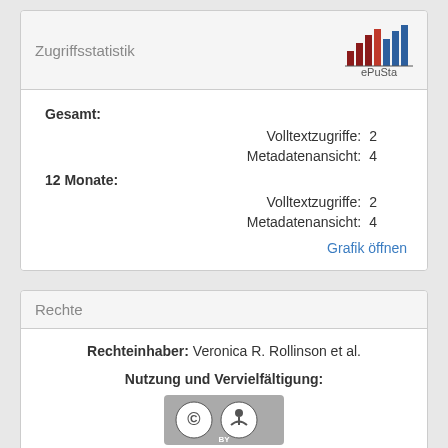Zugriffsstatistik
Gesamt:
  Volltextzugriffe: 2
  Metadatenansicht: 4
12 Monate:
  Volltextzugriffe: 2
  Metadatenansicht: 4
Grafik öffnen
Rechte
Rechteinhaber: Veronica R. Rollinson et al.
Nutzung und Vervielfältigung:
[Figure (logo): Creative Commons Attribution (CC BY) license badge]